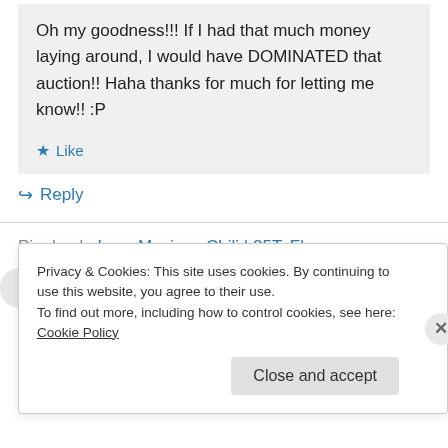Oh my goodness!!! If I had that much money laying around, I would have DOMINATED that auction!! Haha thanks for much for letting me know!! :P
★ Like
↳ Reply
Pingback: Lazy Mexican Chili | 25ToFly
Privacy & Cookies: This site uses cookies. By continuing to use this website, you agree to their use. To find out more, including how to control cookies, see here: Cookie Policy
Close and accept